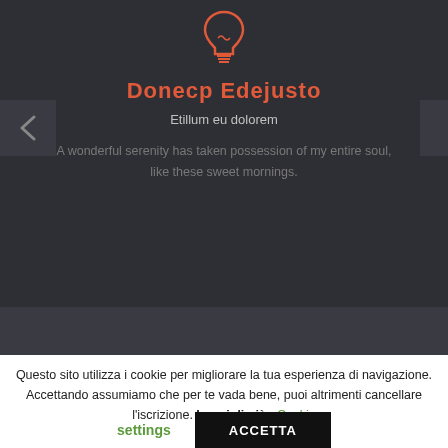[Figure (screenshot): Dark themed card with an orange lightbulb icon at top, orange bold title 'Donecp Edejusto', subtitle 'Etillum eu dolorem', and body text 'A wonderful serenity has taken possession of my entire soul, like these sweet mornings.']
Donecp Edejusto
Etillum eu dolorem
A wonderful serenity has taken possession of my entire soul, like these sweet mornings.
Questo sito utilizza i cookie per migliorare la tua esperienza di navigazione. Accettando assumiamo che per te vada bene, puoi altrimenti cancellare l'iscrizione. Leggi di più   Cookie settings   ACCETTA